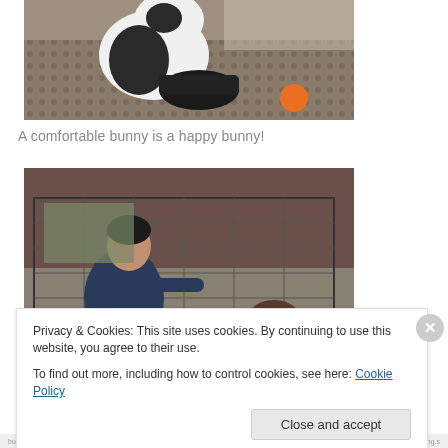[Figure (photo): A black and white rabbit sitting next to a dark bowl on a patterned mat, with an orange toy visible in the background.]
A comfortable bunny is a happy bunny!
[Figure (photo): A person crouching beside a large wire pet cage/pen on a floor, appearing to be assembling or adjusting it.]
Privacy & Cookies: This site uses cookies. By continuing to use this website, you agree to their use.
To find out more, including how to control cookies, see here: Cookie Policy
Close and accept